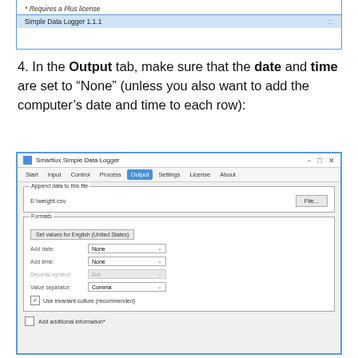[Figure (screenshot): Top portion of Smartlux Simple Data Logger window showing '* Requires a Plus license' text and 'Simple Data Logger 1.1.1' in a blue-bordered box]
4. In the Output tab, make sure that the date and time are set to “None” (unless you also want to add the computer’s date and time to each row):
[Figure (screenshot): Smartlux Simple Data Logger application window showing the Output tab with Append data settings (E:\weight.csv), Formats section with Add date: None, Add time: None, Decimal symbol: Dot (disabled), Value separator: Comma, Use invariant culture (recommended) checkbox checked, and Add additional information* checkbox unchecked at the bottom]